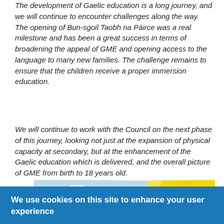The development of Gaelic education is a long journey, and we will continue to encounter challenges along the way. The opening of Bun-sgoil Taobh na Pàirce was a real milestone and has been a great success in terms of broadening the appeal of GME and opening access to the language to many new families. The challenge remains to ensure that the children receive a proper immersion education.
We will continue to work with the Council on the next phase of this journey, looking not just at the expansion of physical capacity at secondary, but at the enhancement of the Gaelic education which is delivered, and the overall picture of GME from birth to 18 years old.
[Figure (illustration): Illustrated banner image showing a white swan with wings spread on a light blue sky background with clouds, and a yellow diagonal stripe on the right side.]
We use cookies on this site to enhance your user experience